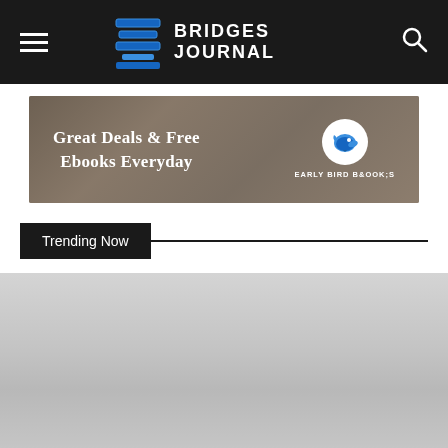BRIDGES JOURNAL
[Figure (illustration): Early Bird Books banner advertisement with text 'Great Deals & Free Ebooks Everyday']
Trending Now
[Figure (screenshot): Gray content area below Trending Now section]